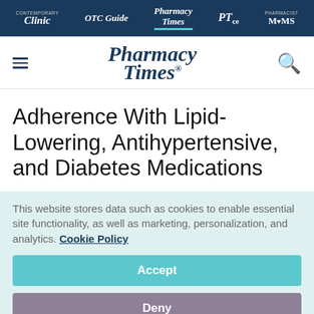Contemporary Clinic | OTC Guide | Pharmacy Times | PTce | Pharmacist MOMS
[Figure (logo): Pharmacy Times logo with hamburger menu and search icon]
Adherence With Lipid-Lowering, Antihypertensive, and Diabetes Medications
This website stores data such as cookies to enable essential site functionality, as well as marketing, personalization, and analytics. Cookie Policy
Accept
Deny